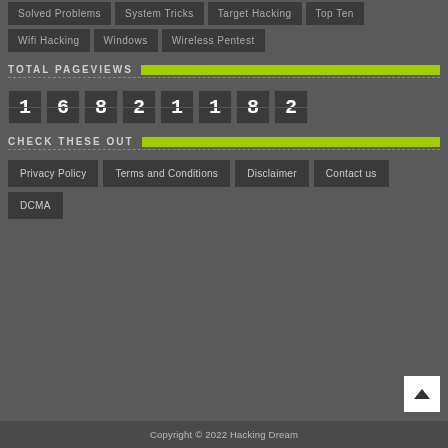Solved Problems
System Tricks
Target Hacking
Top Ten
Wifi Hacking
Windows
Wireless Pentest
TOTAL PAGEVIEWS
1 6 8 2 1 1 8 2
CHECK THESE OUT
Privacy Policy
Terms and Conditions
Disclaimer
Contact us
DCMA
Copyright © 2022 Hacking Dream